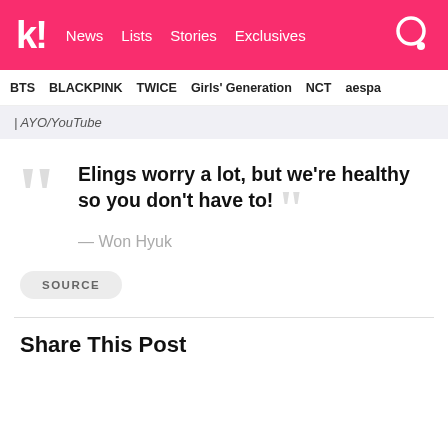k! News Lists Stories Exclusives
BTS BLACKPINK TWICE Girls' Generation NCT aespa
| AYO/YouTube
“Elings worry a lot, but we’re healthy so you don’t have to!” — Won Hyuk
SOURCE
Share This Post